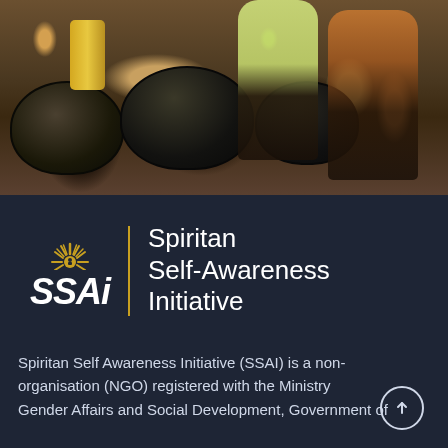[Figure (photo): People in an outdoor market or community setting with large dark cooking pots/barrels and people including a woman in yellow clothing and a child.]
[Figure (logo): SSAI logo with sun/rays icon above text 'SSAI' in white italic letters, a vertical gold divider line, and text 'Spiritan Self-Awareness Initiative' in white on dark blue background.]
Spiritan Self Awareness Initiative (SSAI) is a non-organisation (NGO) registered with the Ministry Gender Affairs and Social Development, Government of